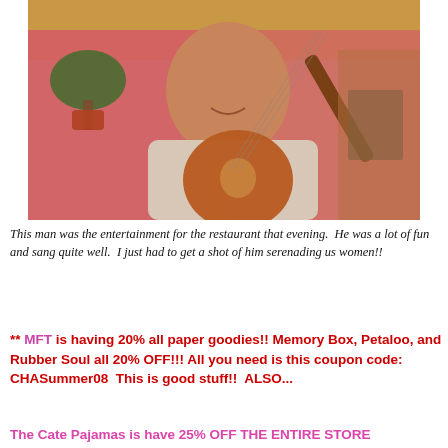[Figure (photo): A smiling man playing an acoustic guitar, wearing a floral/Hawaiian-style white shirt, photographed indoors with pink walls and a plant in the background.]
This man was the entertainment for the restaurant that evening.  He was a lot of fun and sang quite well.  I just had to get a shot of him serenading us women!!
** MFT is having 20% all paper goodies!! Memory Box, Petaloo, and Rubber Soul all 20% OFF!!! All you need is this coupon code: CHASummer08  This is good stuff!!  ALSO...
The Cate Pajamas is have 25% OFF THE ENTIRE STORE